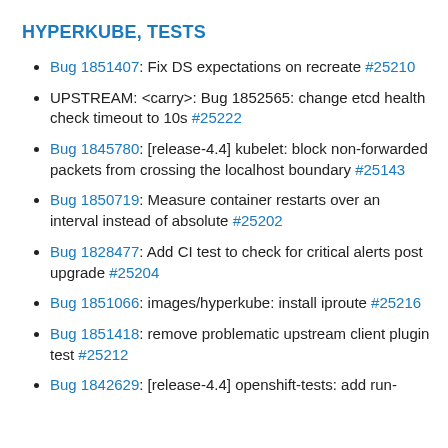HYPERKUBE, TESTS
Bug 1851407: Fix DS expectations on recreate #25210
UPSTREAM: <carry>: Bug 1852565: change etcd health check timeout to 10s #25222
Bug 1845780: [release-4.4] kubelet: block non-forwarded packets from crossing the localhost boundary #25143
Bug 1850719: Measure container restarts over an interval instead of absolute #25202
Bug 1828477: Add CI test to check for critical alerts post upgrade #25204
Bug 1851066: images/hyperkube: install iproute #25216
Bug 1851418: remove problematic upstream client plugin test #25212
Bug 1842629: [release-4.4] openshift-tests: add run-